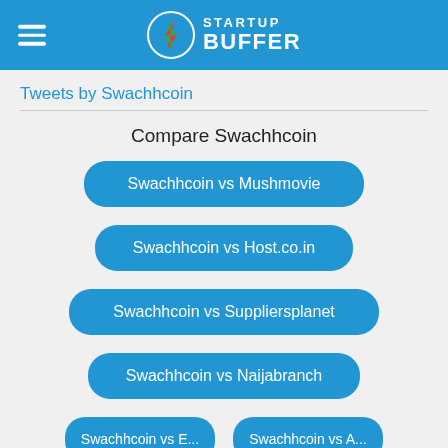[Figure (logo): Startup Buffer logo with blue header bar, hamburger menu icon on left, circular logo with lightning bolt, and STARTUP BUFFER text in white]
Tweets by Swachhcoin
Compare Swachhcoin
Swachhcoin vs Mushmovie
Swachhcoin vs Host.co.in
Swachhcoin vs Suppliersplanet
Swachhcoin vs Naijabranch
Swachhcoin vs E...
Swachhcoin vs A...